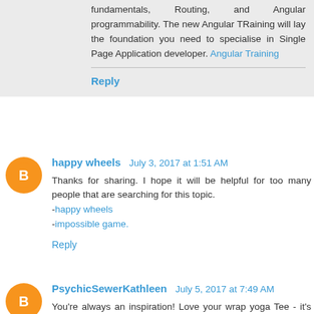fundamentals, Routing, and Angular programmability. The new Angular TRaining will lay the foundation you need to specialise in Single Page Application developer. Angular Training
Reply
happy wheels  July 3, 2017 at 1:51 AM
Thanks for sharing. I hope it will be helpful for too many people that are searching for this topic.
-happy wheels
-impossible game.
Reply
PsychicSewerKathleen  July 5, 2017 at 7:49 AM
You're always an inspiration! Love your wrap yoga Tee - it's so stylish especially with those ballet wraps on your capris too.